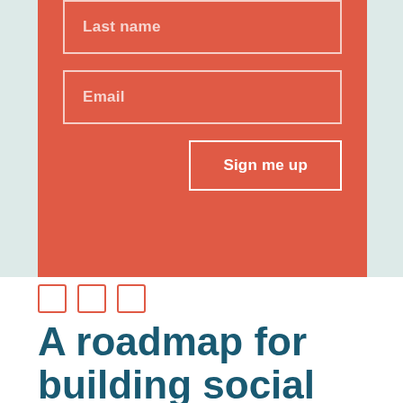[Figure (screenshot): Sign-up form on coral/red background with Last name and Email input fields and a Sign me up button]
[Figure (infographic): Three small orange rectangle outline icons in a row]
A roadmap for building social